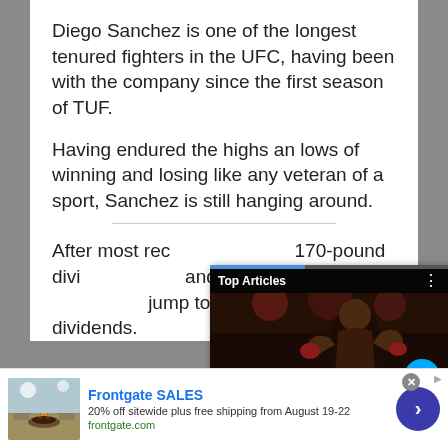Diego Sanchez is one of the longest tenured fighters in the UFC, having been with the company since the first season of TUF.
Having endured the highs an lows of winning and losing like any veteran of a sport, Sanchez is still hanging around.
After most rec... 170-pound divi... and-down run a... jump to welter... dividends.
[Figure (screenshot): Video overlay showing a UFC fighter (Kevin Holland) in an arena, with Top Articles label, video playback controls (pause, mute), and caption 'Kevin Holland announces he's']
[Figure (screenshot): Advertisement for Frontgate SALES showing outdoor furniture with fire pit. Text: '20% off sitewide plus free shipping from August 19-22', 'frontgate.com']